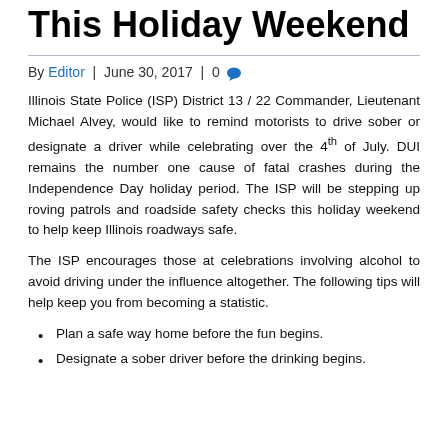This Holiday Weekend
By Editor | June 30, 2017 | 0
Illinois State Police (ISP) District 13 / 22 Commander, Lieutenant Michael Alvey, would like to remind motorists to drive sober or designate a driver while celebrating over the 4th of July. DUI remains the number one cause of fatal crashes during the Independence Day holiday period. The ISP will be stepping up roving patrols and roadside safety checks this holiday weekend to help keep Illinois roadways safe.
The ISP encourages those at celebrations involving alcohol to avoid driving under the influence altogether. The following tips will help keep you from becoming a statistic.
Plan a safe way home before the fun begins.
Designate a sober driver before the drinking begins.